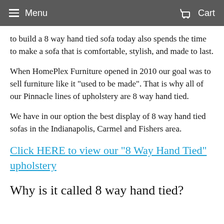Menu  Cart
to build a 8 way hand tied sofa today also spends the time to make a sofa that is comfortable, stylish, and made to last.
When HomePlex Furniture opened in 2010 our goal was to sell furniture like it "used to be made". That is why all of our Pinnacle lines of upholstery are 8 way hand tied.
We have in our option the best display of 8 way hand tied sofas in the Indianapolis, Carmel and Fishers area.
Click HERE to view our "8 Way Hand Tied" upholstery
Why is it called 8 way hand tied?